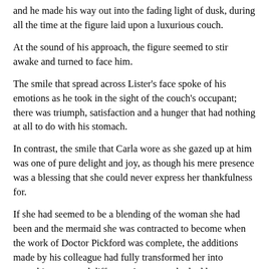and he made his way out into the fading light of dusk, during all the time at the figure laid upon a luxurious couch.
At the sound of his approach, the figure seemed to stir awake and turned to face him.
The smile that spread across Lister’s face spoke of his emotions as he took in the sight of the couch’s occupant; there was triumph, satisfaction and a hunger that had nothing at all to do with his stomach.
In contrast, the smile that Carla wore as she gazed up at him was one of pure delight and joy, as though his mere presence was a blessing that she could never express her thankfulness for.
If she had seemed to be a blending of the woman she had been and the mermaid she was contracted to become when the work of Doctor Pickford was complete, the additions made by his colleague had fully transformed her into something new and different. A person who had known Carla Largo in her former life might have recognised her had they been able to spend more than a moment scrutinizing this fantastic creature, but even then they would have been forced to admit that there was less of the woman and more of the mermaid about her.
Her hair had been allowed to grow long, gathered into braids that